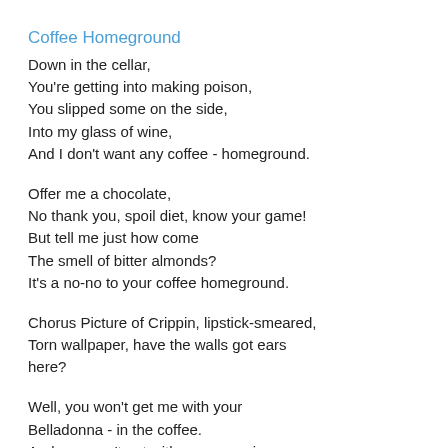Coffee Homeground
Down in the cellar,
You're getting into making poison,
You slipped some on the side,
Into my glass of wine,
And I don't want any coffee - homeground.
Offer me a chocolate,
No thank you, spoil diet, know your game!
But tell me just how come
The smell of bitter almonds?
It's a no-no to your coffee homeground.
Chorus Picture of Crippin, lipstick-smeared,
Torn wallpaper, have the walls got ears here?
Well, you won't get me with your
Belladonna - in the coffee.
And you won't get with your arsenic,
- in the pot of tea.